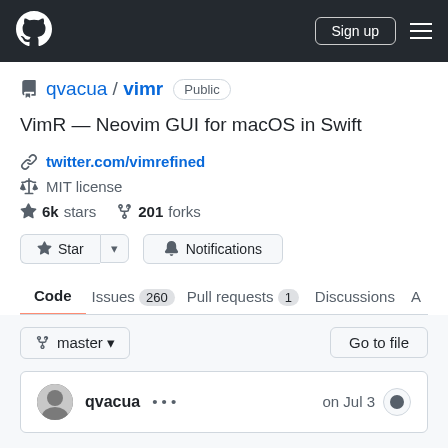GitHub navigation header with logo, Sign up button, and hamburger menu
qvacua / vimr  Public
VimR — Neovim GUI for macOS in Swift
twitter.com/vimrefined
MIT license
6k stars   201 forks
Star  |  ▼  |  Notifications
Code  Issues 260  Pull requests 1  Discussions  A
master ▼    Go to file
qvacua  ...   on Jul 3  🕐